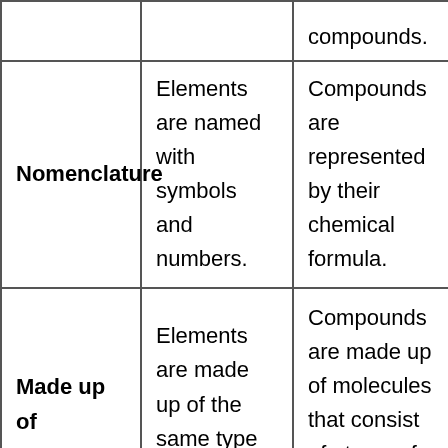|  | Elements | Compounds |
| --- | --- | --- |
| Nomenclature | Elements are named with symbols and numbers. | Compounds are represented by their chemical formula. |
| Made up of | Elements are made up of the same type of atoms. | Compounds are made up of molecules that consist of atoms of different |